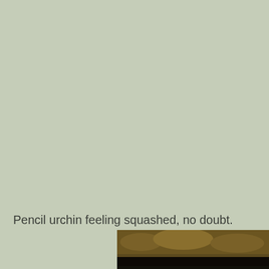Pencil urchin feeling squashed, no doubt.
[Figure (photo): Close-up underwater photo of a pencil urchin with thick red spines, wedged under a dark rock or coral overhang. The urchin's spines appear red-orange and blunt, and there is a decorative shell or body texture visible on the lower left.]